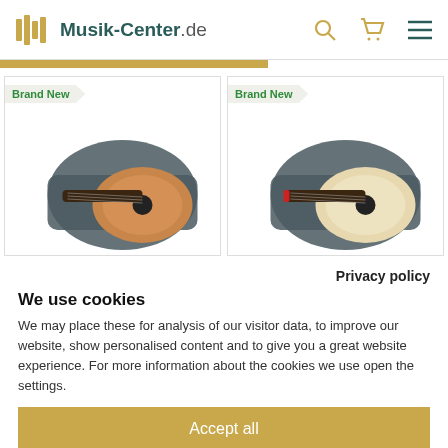Musik-Center.de
[Figure (screenshot): Two product cards showing guitars in cases with 'Brand New' badge]
Privacy policy
We use cookies
We may place these for analysis of our visitor data, to improve our website, show personalised content and to give you a great website experience. For more information about the cookies we use open the settings.
Accept all
Deny
No, adjust